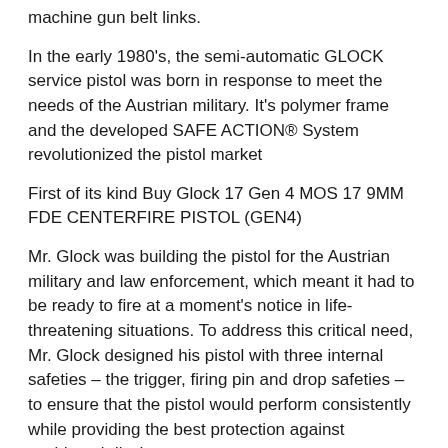machine gun belt links.
In the early 1980’s, the semi-automatic GLOCK service pistol was born in response to meet the needs of the Austrian military. It’s polymer frame and the developed SAFE ACTION® System revolutionized the pistol market
First of its kind Buy Glock 17 Gen 4 MOS 17 9MM FDE CENTERFIRE PISTOL (GEN4)
Mr. Glock was building the pistol for the Austrian military and law enforcement, which meant it had to be ready to fire at a moment’s notice in life-threatening situations. To address this critical need, Mr. Glock designed his pistol with three internal safeties – the trigger, firing pin and drop safeties – to ensure that the pistol would perform consistently while providing the best protection against accidental discharge.